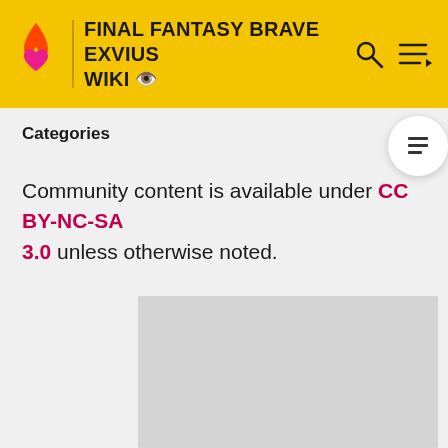FINAL FANTASY BRAVE EXVIUS WIKI
Categories
Community content is available under CC BY-NC-SA 3.0 unless otherwise noted.
[Figure (other): Gray advertisement placeholder rectangle]